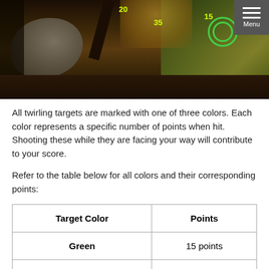[Figure (screenshot): Game screenshot showing a wooded scene with twirling targets marked with point values. Yellow numbers '35', '20', and '15' are visible, with a green circular target ring visible on the right side.]
All twirling targets are marked with one of three colors. Each color represents a specific number of points when hit. Shooting these while they are facing your way will contribute to your score.
Refer to the table below for all colors and their corresponding points:
| Target Color | Points |
| --- | --- |
| Green | 15 points |
| Yellow | 20 points |
| Red | 35 points |
Yule Tokens are rewarded at the end of the time limit. The number of Yule Tokens received depends on your score at the end of the